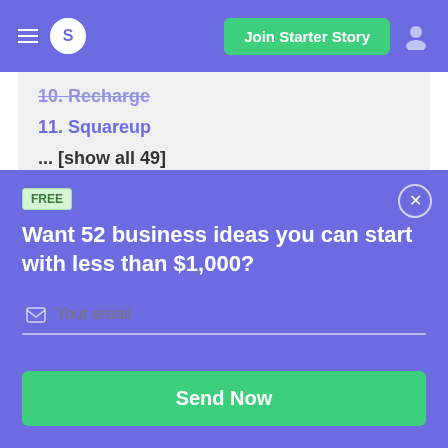S | Join Starter Story
10. Recharge
11. Squareup
... [show all 49]
FREE
Want 52 business ideas you can start with less than $1,000?
Your email
Send Now